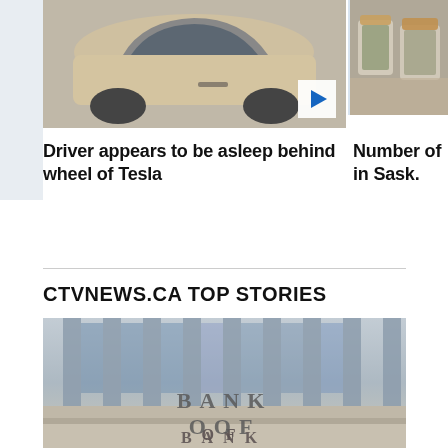[Figure (photo): A Tesla car viewed from the side, driver appears to be asleep behind the wheel. A video play button overlay is visible in the bottom right corner.]
[Figure (photo): Jars of cannabis/marijuana on a counter, partially visible on right side of page.]
Driver appears to be asleep behind wheel of Tesla
Number of in Sask.
CTVNEWS.CA TOP STORIES
[Figure (photo): Close-up photo of the exterior facade of the Bank of Canada building showing stone architecture with 'BANK OF' text engraved.]